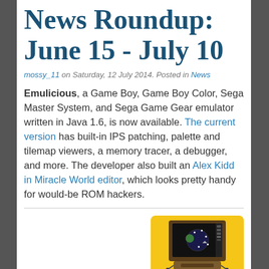News Roundup: June 15 - July 10
mossy_11 on Saturday, 12 July 2014. Posted in News
Emulicious, a Game Boy, Game Boy Color, Sega Master System, and Sega Game Gear emulator written in Java 1.6, is now available. The current version has built-in IPS patching, palette and tilemap viewers, a memory tracer, a debugger, and more. The developer also built an Alex Kidd in Miracle World editor, which looks pretty handy for would-be ROM hackers.
Atari 2600 VCS emulator Stella has a major update available. The 4.0 release ports Stella to SDL2, allowing native hardware acceleration. Other changes and additions include preliminary support for the DASH bankswitching scheme, a hidecursor
[Figure (illustration): Atari 2600 VCS console with controllers on a yellow background]